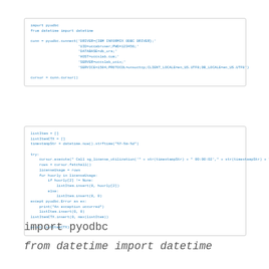[Figure (screenshot): Code box showing Python pyodbc connection setup with import pyodbc, from datetime import datetime, conn = pyodbc.connect(...) with DRIVER, UID, PWD, DATABASE, HOST, SERVER, SERVICE parameters, and cursor = conn.cursor()]
[Figure (screenshot): Code box showing Python script with listItem=[], listItemCTX=[], timestampStr = datetime.now().strftime('%Y-%m-%d'), try/except block calling cursor.execute with sg_license_utilization, rows = cursor.fetchall(), licenseUsage = rows, for hourly in licenseUsage loop, except pyodbc.Error as ex, listItemCTX.insert(0, max(listItem)), print(listItemCTX)]
import pyodbc
from datetime import datetime